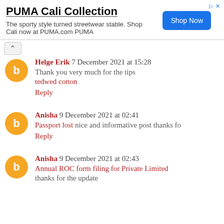[Figure (other): PUMA Cali Collection advertisement banner with Shop Now button]
Helge Erik 7 December 2021 at 15:28
Thank you very much for the tips
tedwed cotton
Reply
Anisha 9 December 2021 at 02:41
Passport lost nice and informative post thanks fo
Reply
Anisha 9 December 2021 at 02:43
Annual ROC form filing for Private Limited
thanks for the update